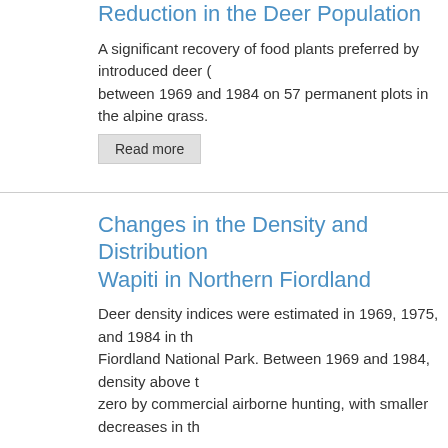Reduction in the Deer Population
A significant recovery of food plants preferred by introduced deer ( between 1969 and 1984 on 57 permanent plots in the alpine grass. During this period the deer population was reduced markedly by h
Read more
Changes in the Density and Distribution Wapiti in Northern Fiordland
Deer density indices were estimated in 1969, 1975, and 1984 in th Fiordland National Park. Between 1969 and 1984, density above t zero by commercial airborne hunting, with smaller decreases in th by 81%. An estimated 2007± 385 deer were present in the 850 km average density in the forest of 3.47±0.66/km². The highest densit completely forested sub-area (Catseye).
Read more
(partial title cut off at bottom)